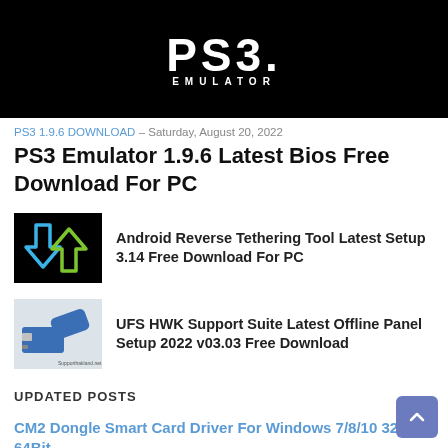[Figure (logo): PS3 Emulator logo — white PS3 text and EMULATOR lettering on black background]
PS3 1.9.6 DOWNLOAD - Saturday, August 20, 2022
PS3 Emulator 1.9.6 Latest Bios Free Download For PC
[Figure (illustration): Black square thumbnail with blue downward arrow and green upward arrow]
Android Reverse Tethering Tool Latest Setup 3.14 Free Download For PC
[Figure (photo): UFS HWK hardware device — blue box with ethernet port and USB dongle]
UFS HWK Support Suite Latest Offline Panel Setup 2022 v03.03 Free Download
UPDATED POSTS
CM2 Dongle Smart Card Driver For Windows 7/8/10 32Bit 64Bit